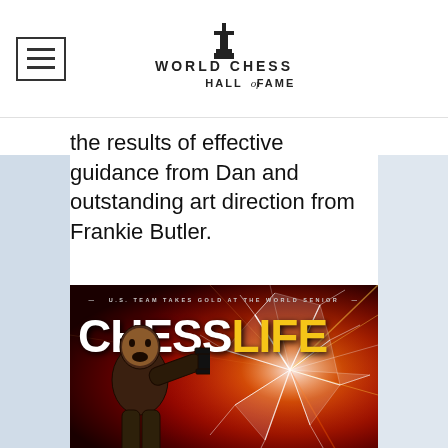World Chess Hall of Fame
the results of effective guidance from Dan and outstanding art direction from Frankie Butler.
[Figure (photo): Chess Life magazine cover from October 2018 featuring a dramatic red background with shattered glass effect, a person in military-style costume, and a large chess piece. Text reads 'U.S. TEAM TAKES GOLD AT THE WORLD SENIOR' at the top, 'CHESS LIFE' as the main title with LIFE in yellow, and 'October 2018 | USChess.org' at bottom right.]